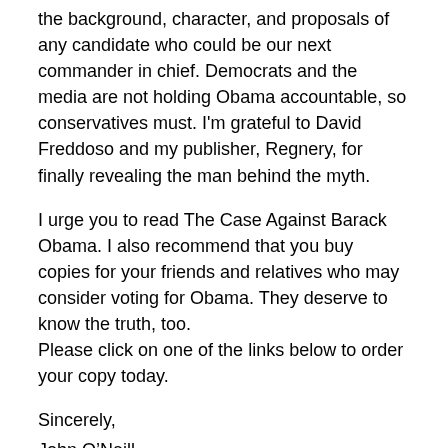the background, character, and proposals of any candidate who could be our next commander in chief. Democrats and the media are not holding Obama accountable, so conservatives must. I'm grateful to David Freddoso and my publisher, Regnery, for finally revealing the man behind the myth.
I urge you to read The Case Against Barack Obama. I also recommend that you buy copies for your friends and relatives who may consider voting for Obama. They deserve to know the truth, too.
Please click on one of the links below to order your copy today.
Sincerely,
John O’Neill
Click below to save 20% or more off bookstore prices!